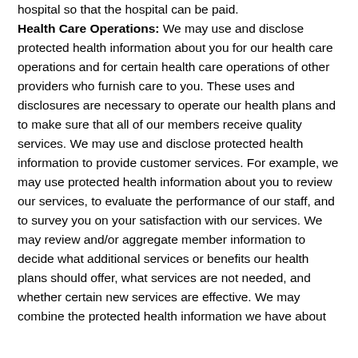hospital so that the hospital can be paid.
Health Care Operations: We may use and disclose protected health information about you for our health care operations and for certain health care operations of other providers who furnish care to you. These uses and disclosures are necessary to operate our health plans and to make sure that all of our members receive quality services. We may use and disclose protected health information to provide customer services. For example, we may use protected health information about you to review our services, to evaluate the performance of our staff, and to survey you on your satisfaction with our services. We may review and/or aggregate member information to decide what additional services or benefits our health plans should offer, what services are not needed, and whether certain new services are effective. We may combine the protected health information we have about